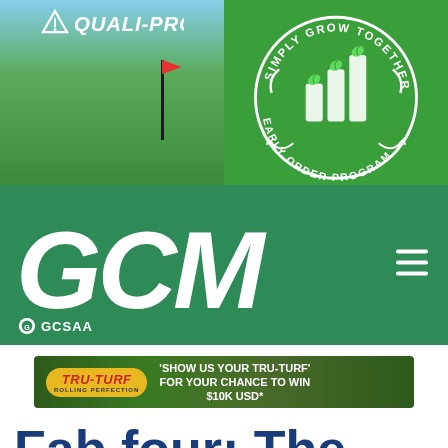[Figure (logo): Quali-Pro logo over golf course green with flag]
[Figure (logo): Simply Grow Together Early Order Program circular badge on green background with bar chart and leaf icons]
[Figure (logo): GCM (Golf Course Management) navigation header on dark green background with GCSAA badge and hamburger menu]
[Figure (logo): Tru-Turf Rolling Perfection advertisement banner: 'SHOW US YOUR TRU-TURF FOR YOUR CHANCE TO WIN $10K USD*']
Fab four: The 2022